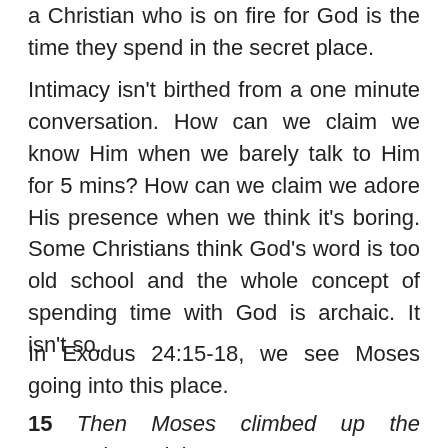a Christian who is on fire for God is the time they spend in the secret place.
Intimacy isn't birthed from a one minute conversation. How can we claim we know Him when we barely talk to Him for 5 mins? How can we claim we adore His presence when we think it's boring. Some Christians think God's word is too old school and the whole concept of spending time with God is archaic. It isn't so.
In Exodus 24:15-18, we see Moses going into this place.
15 Then Moses climbed up the mountain, and the